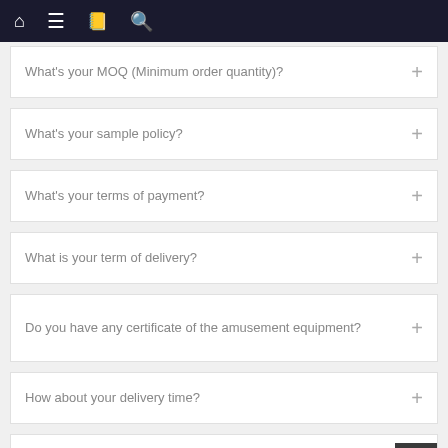Navigation bar with home, menu, book, and search icons
What's your MOQ (Minimum order quantity)?
What's your sample policy?
What's your terms of payment?
What is your term of delivery?
Do you have any certificate of the amusement equipment?
How about your delivery time?
Could you provide customize logo?